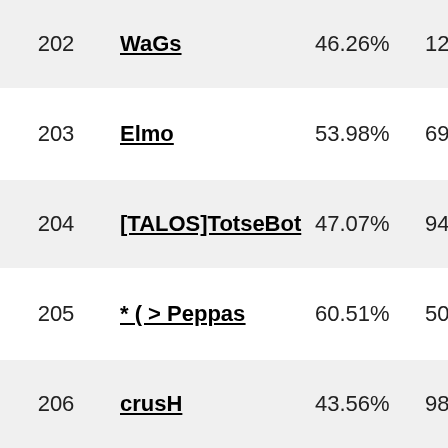| Rank | Name | Win% | Score |
| --- | --- | --- | --- |
| 202 | WaGs | 46.26% | 1239… |
| 203 | Elmo | 53.98% | 697… |
| 204 | [TALOS]TotseBot | 47.07% | 946… |
| 205 | * ( > Peppas | 60.51% | 507… |
| 206 | crusH | 43.56% | 984… |